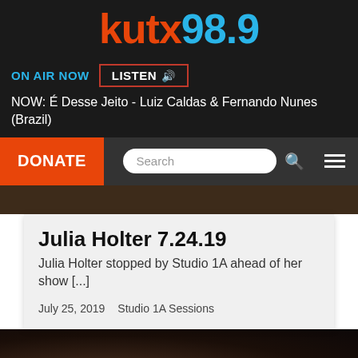kutx98.9
ON AIR NOW   LISTEN
NOW: É Desse Jeito - Luiz Caldas & Fernando Nunes (Brazil)
DONATE
Search
[Figure (photo): Partial photo strip of a person, dark background]
Julia Holter 7.24.19
Julia Holter stopped by Studio 1A ahead of her show [...]
July 25, 2019  Studio 1A Sessions
[Figure (photo): Black and white photo of a person with dark curly hair, concert setting]